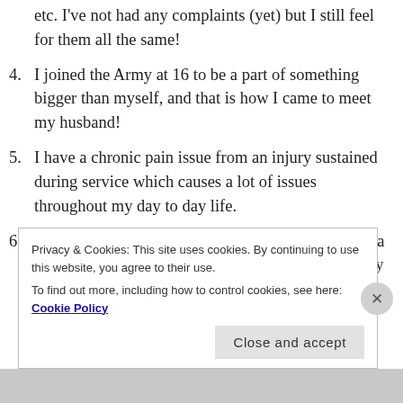etc. I've not had any complaints (yet) but I still feel for them all the same!
4. I joined the Army at 16 to be a part of something bigger than myself, and that is how I came to meet my husband!
5. I have a chronic pain issue from an injury sustained during service which causes a lot of issues throughout my day to day life.
6. I love to write, and currently have several projects; a few are finished (though will not see the light of day aha!) and the rest are either ideas or are in the process of being written. I write primarily for
Privacy & Cookies: This site uses cookies. By continuing to use this website, you agree to their use.
To find out more, including how to control cookies, see here: Cookie Policy